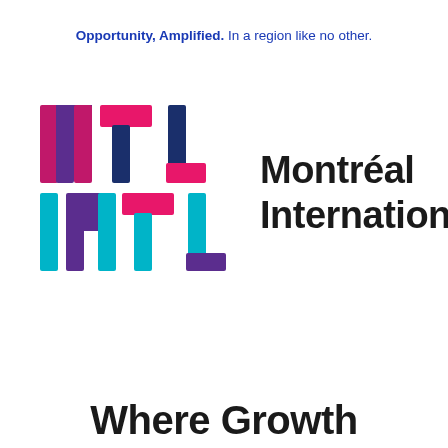Opportunity, Amplified. In a region like no other.
[Figure (logo): MTL INTL Montréal International logo with colourful geometric block letters and wordmark]
Where Growth